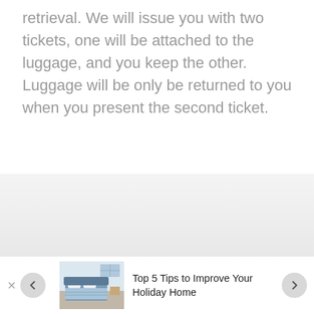retrieval. We will issue you with two tickets, one will be attached to the luggage, and you keep the other. Luggage will be only be returned to you when you present the second ticket.
[Figure (other): Gray gradient band background section]
[Figure (other): Advertisement bar with close button, left navigation arrow, thumbnail image of a bedroom, text 'Top 5 Tips to Improve Your Holiday Home', and right navigation arrow]